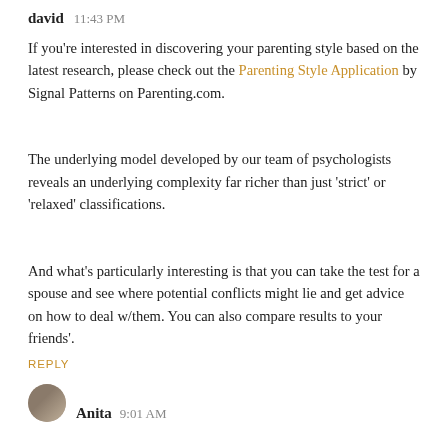david  11:43 PM
If you're interested in discovering your parenting style based on the latest research, please check out the Parenting Style Application by Signal Patterns on Parenting.com.
The underlying model developed by our team of psychologists reveals an underlying complexity far richer than just 'strict' or 'relaxed' classifications.
And what's particularly interesting is that you can take the test for a spouse and see where potential conflicts might lie and get advice on how to deal w/them. You can also compare results to your friends'.
REPLY
Anita  9:01 AM